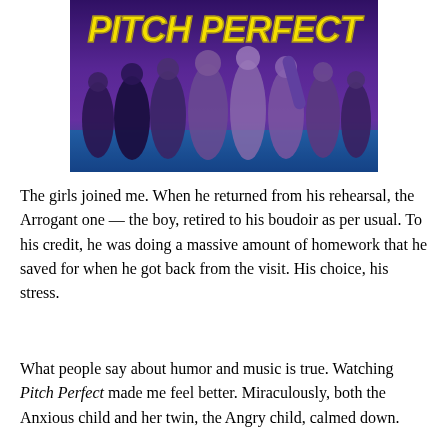[Figure (photo): Movie poster for 'Pitch Perfect' showing the cast of female characters in purple-themed attire against a purple background, with the title 'Pitch Perfect' in large yellow stylized text at the top.]
The girls joined me. When he returned from his rehearsal, the Arrogant one — the boy, retired to his boudoir as per usual. To his credit, he was doing a massive amount of homework that he saved for when he got back from the visit. His choice, his stress.
What people say about humor and music is true. Watching Pitch Perfect made me feel better. Miraculously, both the Anxious child and her twin, the Angry child, calmed down.